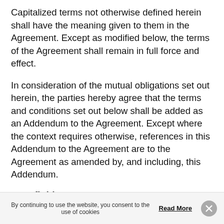Capitalized terms not otherwise defined herein shall have the meaning given to them in the Agreement. Except as modified below, the terms of the Agreement shall remain in full force and effect.
In consideration of the mutual obligations set out herein, the parties hereby agree that the terms and conditions set out below shall be added as an Addendum to the Agreement. Except where the context requires otherwise, references in this Addendum to the Agreement are to the Agreement as amended by, and including, this Addendum.
1. Definitions
1.1. In this Addendum, the following terms shall have the meanings set out below and
By continuing to use the website, you consent to the use of cookies